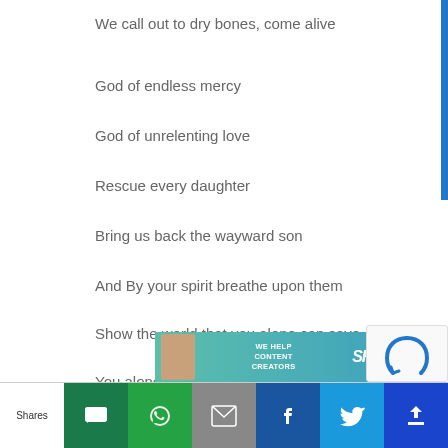We call out to dry bones, come alive
God of endless mercy
God of unrelenting love
Rescue every daughter
Bring us back the wayward son
And By your spirit breathe upon them
Show the world that you alone can save
You alone can save
Repeat Chorus
So breathe, oh breath of God
Now breathe, oh breath of God
[Figure (infographic): SHE media advertisement banner: WE HELP CONTENT CREATORS with LEARN button]
Shares | social share buttons: message, WhatsApp, email, Facebook, Twitter, other